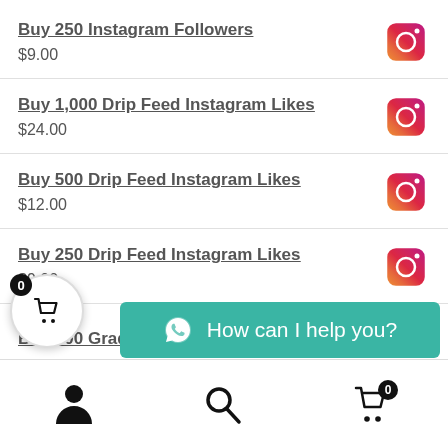Buy 250 Instagram Followers
$9.00
Buy 1,000 Drip Feed Instagram Likes
$24.00
Buy 500 Drip Feed Instagram Likes
$12.00
Buy 250 Drip Feed Instagram Likes
$9.00
Buy 500 Gradual Instagram Likes
[Figure (screenshot): Cart icon with badge showing 0]
How can I help you?
[Figure (screenshot): Bottom navigation bar with person, search, and cart icons]